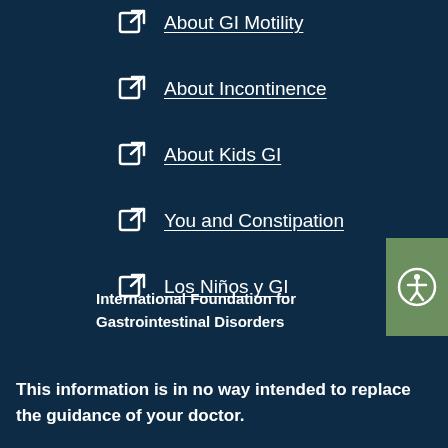About GI Motility
About Incontinence
About Kids GI
You and Constipation
Los Niños y GI
International Foundation for Gastrointestinal Disorders
This information is in no way intended to replace the guidance of your doctor.